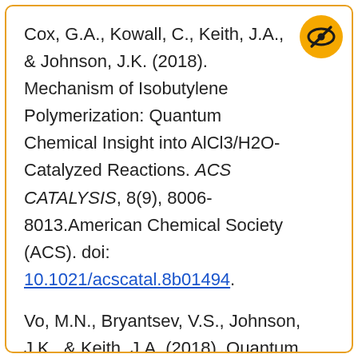Cox, G.A., Kowall, C., Keith, J.A., & Johnson, J.K. (2018). Mechanism of Isobutylene Polymerization: Quantum Chemical Insight into AlCl3/H2O-Catalyzed Reactions. ACS CATALYSIS, 8(9), 8006-8013.American Chemical Society (ACS). doi: 10.1021/acscatal.8b01494.
Vo, M.N., Bryantsev, V.S., Johnson, J.K., & Keith, J.A. (2018). Quantum chemistry benchmarking of binding and selectivity for lanthanide extractants. INTERNATIONAL JOURNAL OF QUANTUM CHEMISTRY, 118(7).Wiley. doi: